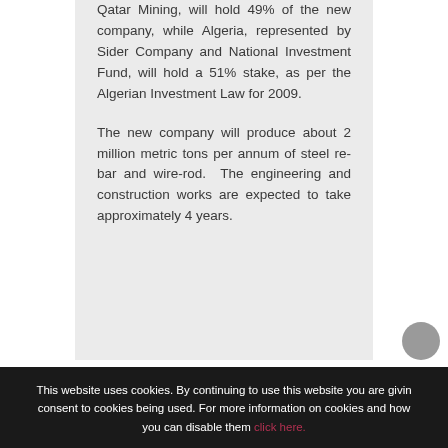Qatar Mining, will hold 49% of the new company, while Algeria, represented by Sider Company and National Investment Fund, will hold a 51% stake, as per the Algerian Investment Law for 2009.

The new company will produce about 2 million metric tons per annum of steel re-bar and wire-rod. The engineering and construction works are expected to take approximately 4 years.
This website uses cookies. By continuing to use this website you are giving consent to cookies being used. For more information on cookies and how you can disable them click here.